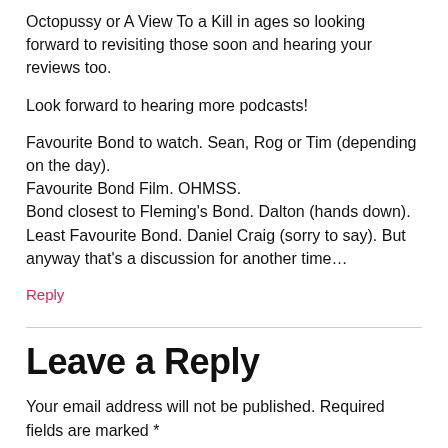Octopussy or A View To a Kill in ages so looking forward to revisiting those soon and hearing your reviews too.
Look forward to hearing more podcasts!
Favourite Bond to watch. Sean, Rog or Tim (depending on the day). Favourite Bond Film. OHMSS. Bond closest to Fleming's Bond. Dalton (hands down). Least Favourite Bond. Daniel Craig (sorry to say). But anyway that's a discussion for another time…
Reply
Leave a Reply
Your email address will not be published. Required fields are marked *
Comment *